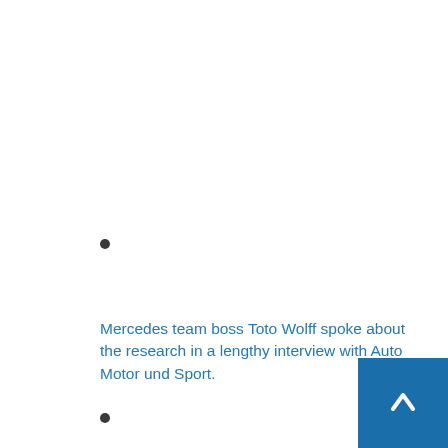•
Mercedes team boss Toto Wolff spoke about the research in a lengthy interview with Auto Motor und Sport.
•